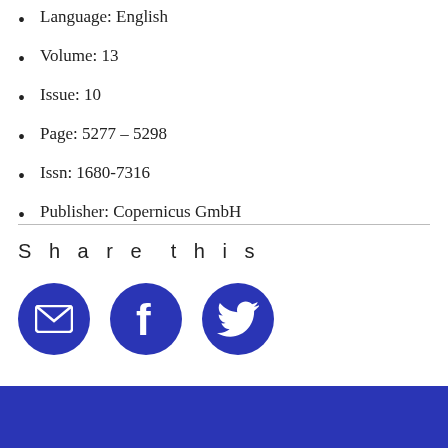Language: English
Volume: 13
Issue: 10
Page: 5277 – 5298
Issn: 1680-7316
Publisher: Copernicus GmbH
Share this
[Figure (infographic): Three circular blue social sharing icons: email (envelope), Facebook (f), and Twitter (bird)]